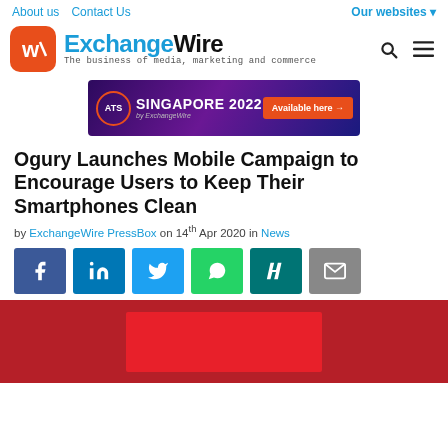About us  Contact Us  Our websites
[Figure (logo): ExchangeWire logo with orange W icon. Tagline: The business of media, marketing and commerce]
[Figure (screenshot): ATS Singapore 2022 banner by ExchangeWire with Available here button]
Ogury Launches Mobile Campaign to Encourage Users to Keep Their Smartphones Clean
by ExchangeWire PressBox on 14th Apr 2020 in News
[Figure (infographic): Social share buttons: Facebook, LinkedIn, Twitter, WhatsApp, Xing, Email]
[Figure (photo): Red background image with lighter red rectangle in center, partially visible at bottom of page]